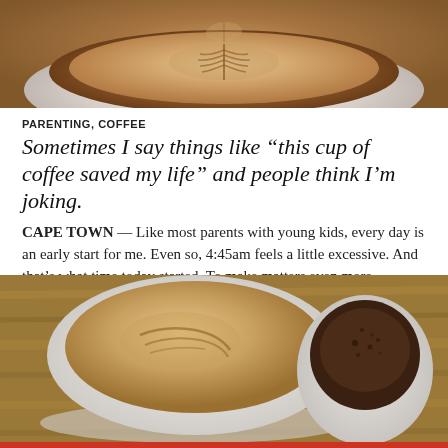[Figure (photo): Close-up top-down view of a latte coffee cup with leaf latte art in foam, on a light background]
PARENTING, COFFEE
Sometimes I say things like “this cup of coffee saved my life” and people think I’m joking.
CAPE TOWN — Like most parents with young kids, every day is an early start for me. Even so, 4:45am feels a little excessive. And that’s what time today started. To make matters even more… challenging… my wife…
[Figure (photo): Top-down view of two white ceramic coffee cups on a wooden table. The larger cup on the left has latte art, the smaller cup on the right has dark coffee grounds.]